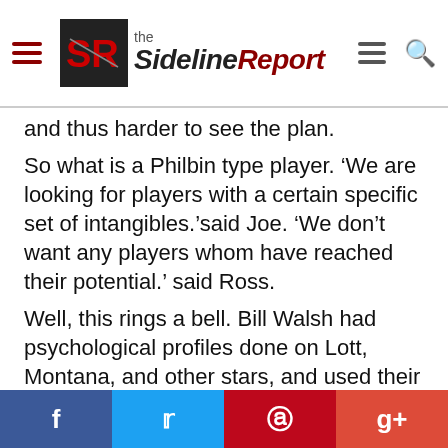the SidelineReport
and thus harder to see the plan.
So what is a Philbin type player. ‘We are looking for players with a certain specific set of intangibles.’said Joe. ‘We don’t want any players whom have reached their potential.’ said Ross.
Well, this rings a bell. Bill Walsh had psychological profiles done on Lott, Montana, and other stars, and used their profile to draft players. Clearly he was after more than 40-times. He was looking for a chemistry, a cohesion, a unity of purpose, AKA a solid locker room.
#1 the players have to be smart. #2 they have to be naturally driven hard workers after not success, but greatness.#3 they have to have the physical flexibility to play multiple roles.#4 and most rare, is they have to be